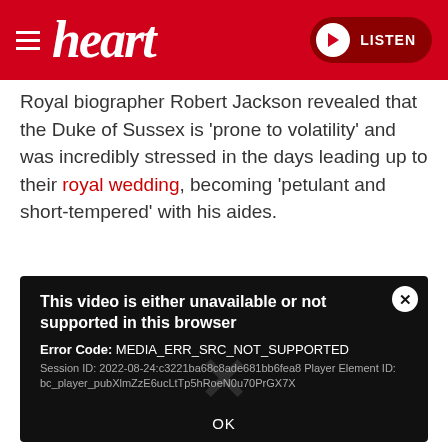[Figure (screenshot): Heart FM radio website header with red background, hamburger menu, Heart logo, and LISTEN button with play icon]
Royal biographer Robert Jackson revealed that the Duke of Sussex is 'prone to volatility' and was incredibly stressed in the days leading up to their royal wedding, becoming 'petulant and short-tempered' with his aides.
[Figure (screenshot): Video player error overlay on dark background showing: This video is either unavailable or not supported in this browser. Error Code: MEDIA_ERR_SRC_NOT_SUPPORTED. Session ID: 2022-08-24:c3221ba68c8ade681bb6fea8 Player Element ID: bc_player_pubXlmZzE6ucLtTp5hRoeN0u70PrGX7X. OK button at bottom.]